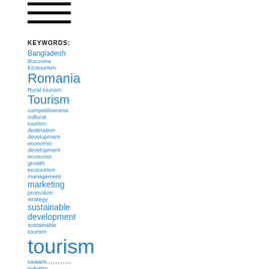KEYWORDS:
Bangladesh
Bucovina
Ecotourism
Romania
Rural tourism
Tourism
competitiveness
cultural tourism
destination
development
economic development
economic growth
ecotourism
management
marketing
promotion
strategy
sustainable development
sustainable tourism
tourism
tourism industry